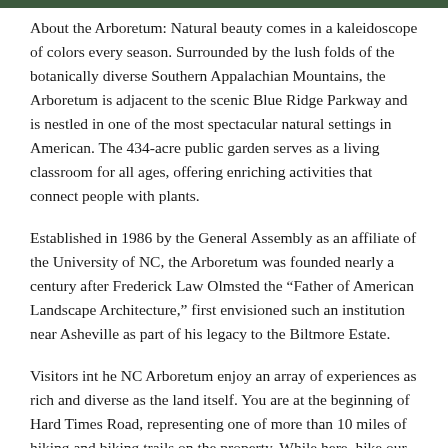[Figure (photo): Dark green decorative bar at the top of the page]
About the Arboretum: Natural beauty comes in a kaleidoscope of colors every season. Surrounded by the lush folds of the botanically diverse Southern Appalachian Mountains, the Arboretum is adjacent to the scenic Blue Ridge Parkway and is nestled in one of the most spectacular natural settings in American. The 434-acre public garden serves as a living classroom for all ages, offering enriching activities that connect people with plants.
Established in 1986 by the General Assembly as an affiliate of the University of NC, the Arboretum was founded nearly a century after Frederick Law Olmsted the “Father of American Landscape Architecture,” first envisioned such an institution near Asheville as part of his legacy to the Biltmore Estate.
Visitors int he NC Arboretum enjoy an array of experiences as rich and diverse as the land itself. You are at the beginning of Hard Times Road, representing one of more than 10 miles of hiking and biking trails on the property. While here, hike our trails enjoy a stroll through the